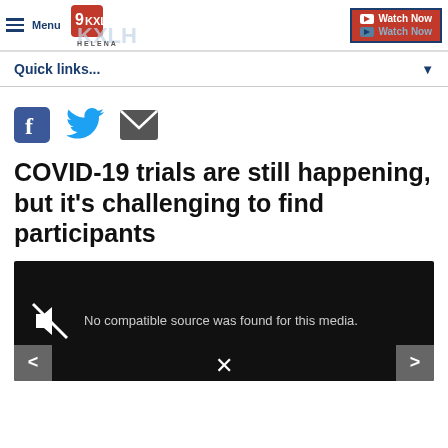Menu | 9KXLH Helena | Watch Now
Quick links...
[Figure (other): Social share icons: Facebook, Twitter, Email]
COVID-19 trials are still happening, but it's challenging to find participants
[Figure (other): Video player placeholder with muted icon and text: No compatible source was found for this media.]